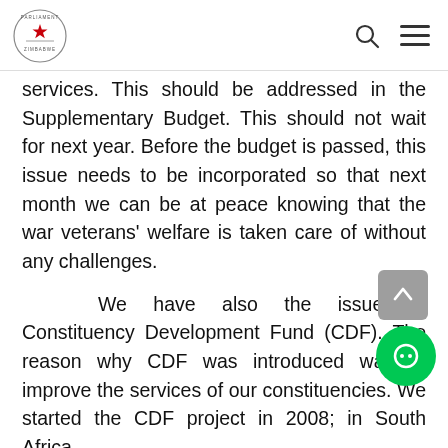Parliament of Zimbabwe - header with logo and navigation icons
services.  This should be addressed in the Supplementary Budget.  This should not wait for next year.  Before the budget is passed, this issue needs to be incorporated so that next month we can be at peace knowing that the war veterans' welfare is taken care of without any challenges.
We have also the issue of Constituency Development Fund (CDF).  The reason why CDF was introduced was to improve the services of our constituencies.  We started the CDF project in 2008; in South Africa, Zambia and Kenya, they did not have CDF.  They pluck a leaf from the Government of Zimbabwe but they improved on that CDF project and it is now more attractive.  Currently we are talking of CDF and we are